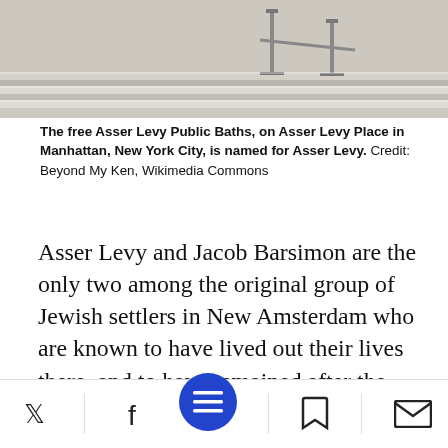[Figure (photo): Photograph of stone steps of the Asser Levy Public Baths building, showing wide limestone stairs and metal railings]
The free Asser Levy Public Baths, on Asser Levy Place in Manhattan, New York City, is named for Asser Levy.  Credit: Beyond My Ken, Wikimedia Commons
Asser Levy and Jacob Barsimon are the only two among the original group of Jewish settlers in New Amsterdam who are known to have lived out their lives there, and to have remained after the British took possession of the colony, in 1664. In October 1660, Levy received a license to operate as a butcher – one of six in New Amsterdam, and the only kosher butcher among them. when he died, in
[Figure (screenshot): Mobile app bottom navigation bar with Twitter, Facebook, hamburger menu (blue circle), bookmark, and email icons]